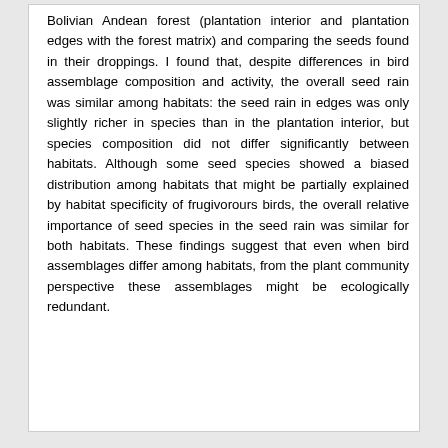Bolivian Andean forest (plantation interior and plantation edges with the forest matrix) and comparing the seeds found in their droppings. I found that, despite differences in bird assemblage composition and activity, the overall seed rain was similar among habitats: the seed rain in edges was only slightly richer in species than in the plantation interior, but species composition did not differ significantly between habitats. Although some seed species showed a biased distribution among habitats that might be partially explained by habitat specificity of frugivorours birds, the overall relative importance of seed species in the seed rain was similar for both habitats. These findings suggest that even when bird assemblages differ among habitats, from the plant community perspective these assemblages might be ecologically redundant.